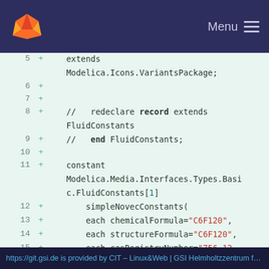GitLab logo | Menu
5  +    extends Modelica.Icons.VariantsPackage;
6  +
7  +
8  +    //   redeclare record extends FluidConstants
9  +    //   end FluidConstants;
10 +
11 +    constant Modelica.Media.Interfaces.Types.Basic.FluidConstants[1]
12 +        simpleNovecConstants(
13 +        each chemicalFormula="C6F120",
14 +        each structureFormula="C6F120",
15 +        each casRegistryNumber="756-13-8",
16 +        each iupacName="Novec649",
17 +        each molarMass=0.31601);
18 +
https://git.gsi.de is provided by CIT – Linux&Web | GSI Helmholtzzentrum fu...